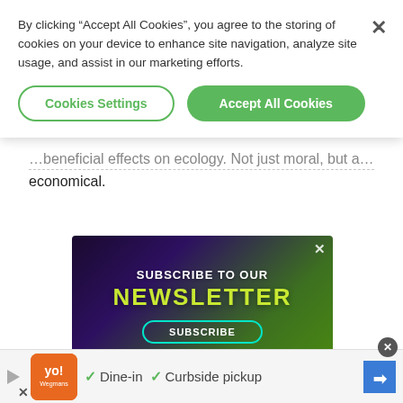By clicking "Accept All Cookies", you agree to the storing of cookies on your device to enhance site navigation, analyze site usage, and assist in our marketing efforts.
Cookies Settings
Accept All Cookies
...beneficial effects on ecology. Not just moral, but also economical.
[Figure (infographic): Newsletter subscription advertisement with dark space/planet background. Text reads SUBSCRIBE TO OUR NEWSLETTER with a SUBSCRIBE button.]
[Figure (infographic): Bottom advertisement bar with Wegmans logo, play button, checkmarks for Dine-in and Curbside pickup, and navigation icon.]